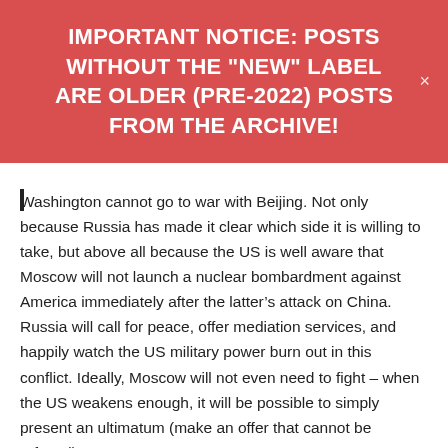IMPORTANT NOTICE: POSTS WITHOUT THE "NEW" LABEL ARE OLDER (PRE-2022) POSTS FROM THE ARCHIVE!
Washington cannot go to war with Beijing. Not only because Russia has made it clear which side it is willing to take, but above all because the US is well aware that Moscow will not launch a nuclear bombardment against America immediately after the latter’s attack on China. Russia will call for peace, offer mediation services, and happily watch the US military power burn out in this conflict. Ideally, Moscow will not even need to fight – when the US weakens enough, it will be possible to simply present an ultimatum (make an offer that cannot be refused).